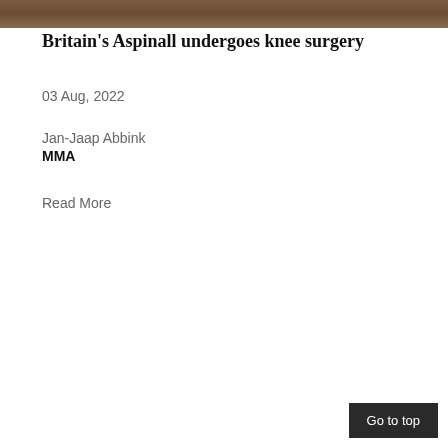[Figure (photo): A photo strip at the top of the page showing a partial image, likely sports-related.]
Britain's Aspinall undergoes knee surgery
03 Aug, 2022
Jan-Jaap Abbink
MMA
Read More
Go to top